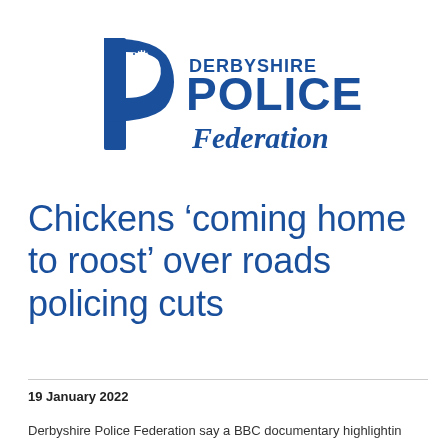[Figure (logo): Derbyshire Police Federation logo — blue stylized letter P with officer silhouette, text 'DERBYSHIRE POLICE Federation' in blue]
Chickens ‘coming home to roost’ over roads policing cuts
19 January 2022
Derbyshire Police Federation say a BBC documentary highlighting...